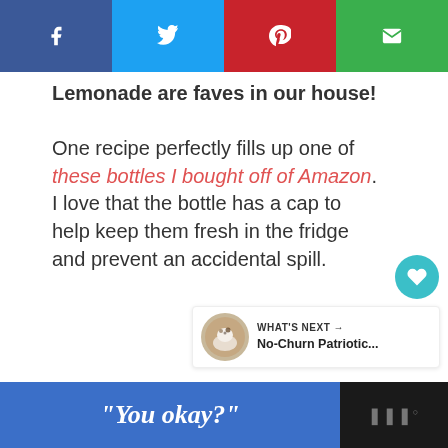[Figure (other): Social sharing bar with four buttons: Facebook (dark blue), Twitter (light blue), Pinterest (red), Email (green), each with white icon]
Lemonade are faves in our house! One recipe perfectly fills up one of these bottles I bought off of Amazon. I love that the bottle has a cap to help keep them fresh in the fridge and prevent an accidental spill.
[Figure (other): Side widget with teal heart button showing 2.2K likes and a share button]
[Figure (other): What's Next widget showing a circular ice cream image and text 'No-Churn Patriotic...']
[Figure (other): Bottom advertisement bar with blue panel containing text '"You okay?"' and dark panel with logo]